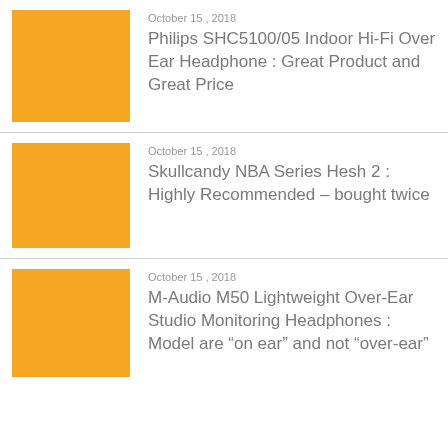[Figure (illustration): Orange/amber colored square thumbnail image placeholder]
October 15 , 2018
Philips SHC5100/05 Indoor Hi-Fi Over Ear Headphone : Great Product and Great Price
[Figure (illustration): Orange/amber colored square thumbnail image placeholder]
October 15 , 2018
Skullcandy NBA Series Hesh 2 : Highly Recommended – bought twice
[Figure (illustration): Orange/amber colored square thumbnail image placeholder]
October 15 , 2018
M-Audio M50 Lightweight Over-Ear Studio Monitoring Headphones : Model are “on ear” and not “over-ear”